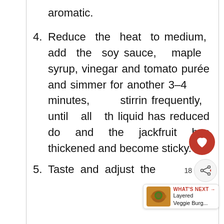aromatic.
4. Reduce the heat to medium, add the soy sauce, maple syrup, vinegar and tomato purée and simmer for another 3–4 minutes, stirring frequently, until all the liquid has reduced down and the jackfruit has thickened and become sticky.
5. Taste and adjust the